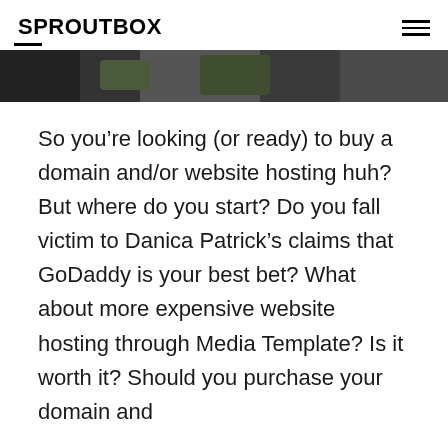SPROUTBOX
[Figure (photo): Partial view of a photo below the header navigation bar]
So you’re looking (or ready) to buy a domain and/or website hosting huh? But where do you start? Do you fall victim to Danica Patrick’s claims that GoDaddy is your best bet? What about more expensive website hosting through Media Template? Is it worth it? Should you purchase your domain and